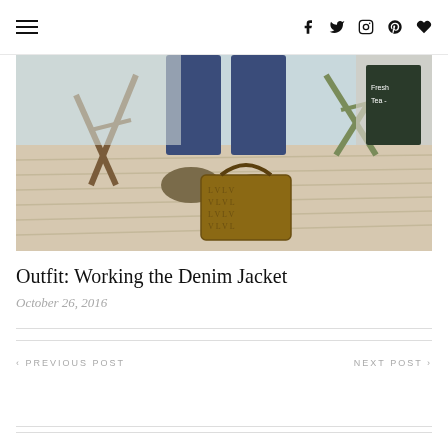Navigation menu and social icons (Facebook, Twitter, Instagram, Pinterest, Heart)
[Figure (photo): Fashion blog photo showing lower half of person wearing blue jeans and olive/tan shoes, sitting on a wooden deck with a Louis Vuitton patterned bag nearby and wooden folding chairs in the background]
Outfit: Working the Denim Jacket
October 26, 2016
‹ PREVIOUS POST
NEXT POST ›